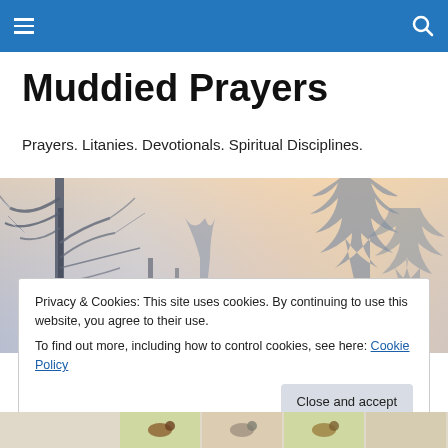Navigation bar with menu icon and search icon
Muddied Prayers
Prayers. Litanies. Devotionals. Spiritual Disciplines.
[Figure (photo): Winter landscape photo showing snow-covered tree branches against a warm pastel pink and yellow sky, with frost-covered evergreen trees in the background.]
Privacy & Cookies: This site uses cookies. By continuing to use this website, you agree to their use.
To find out more, including how to control cookies, see here: Cookie Policy
[Close and accept]
[Figure (illustration): Partial view of illustrated bird images at the bottom of the page.]